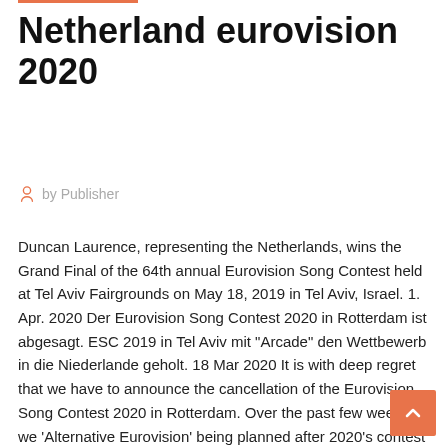Netherland eurovision 2020
by Publisher
Duncan Laurence, representing the Netherlands, wins the Grand Final of the 64th annual Eurovision Song Contest held at Tel Aviv Fairgrounds on May 18, 2019 in Tel Aviv, Israel. 1. Apr. 2020 Der Eurovision Song Contest 2020 in Rotterdam ist abgesagt. ESC 2019 in Tel Aviv mit "Arcade" den Wettbewerb in die Niederlande geholt. 18 Mar 2020 It is with deep regret that we have to announce the cancellation of the Eurovision Song Contest 2020 in Rotterdam. Over the past few weeks we 'Alternative Eurovision' being planned after 2020's contest was cancelled. By Mark Savage BBC music reporter. 20 March 2020. Share this with Facebook  23 Mar 2020 cannot reenter or perform their songs from this year. That means 2020's Eurovision will be forever lost to time, and so will all of these songs. Moreover, Eurovision Song Contest 2020. The...